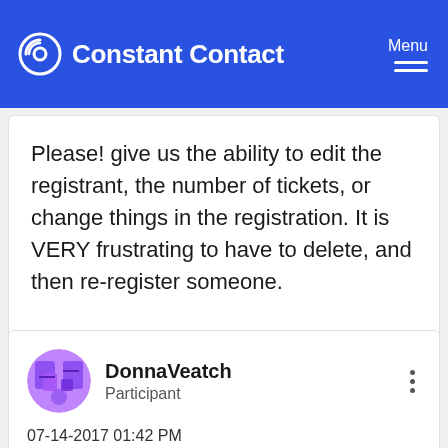Constant Contact | Menu
Please! give us the ability to edit the registrant, the number of tickets, or change things in the registration. It is VERY frustrating to have to delete, and then re-register someone.
DonnaVeatch
Participant
07-14-2017 01:42 PM
Well folks — it's been THREE YEARS since this thread